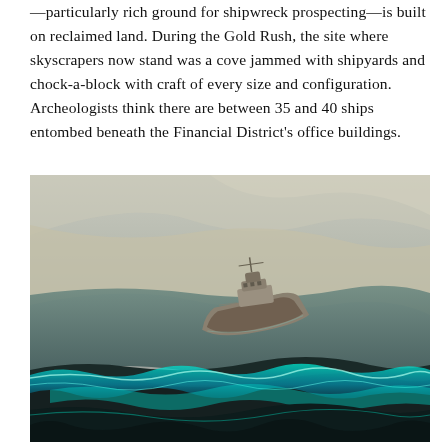—particularly rich ground for shipwreck prospecting—is built on reclaimed land. During the Gold Rush, the site where skyscrapers now stand was a cove jammed with shipyards and chock-a-block with craft of every size and configuration. Archeologists think there are between 35 and 40 ships entombed beneath the Financial District's office buildings.
[Figure (photo): Aerial photograph of a large ship stranded or wrecked in turbulent waters. The foreground shows glowing blue-green bioluminescent waves crashing over dark rocks, while the background fades to a hazy grey sky with sandy or icy terrain visible. The vessel is tilting slightly, caught between dramatic surf and flat terrain.]